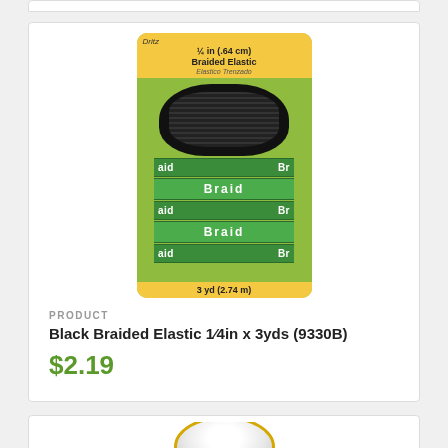[Figure (photo): Product photo of Dritz Black Braided Elastic 1/4in (.64cm) x 3yds (2.74m), item 9330B, on green and yellow packaging showing black elastic bands labeled 'Braid']
PRODUCT
Black Braided Elastic 1/4in x 3yds (9330B)
$2.19
[Figure (photo): Partial view of a second product showing a white roll/spool (partially cropped at bottom of page)]